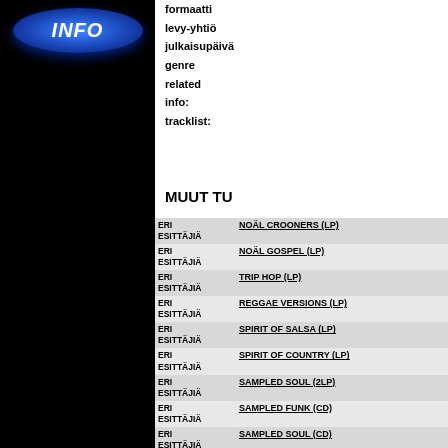[Figure (logo): Blue INFO button on black background with vertical black bar below]
formaatti
levy-yhtiö
julkaisupäivä
genre
related
info:
tracklist:
MUUT TU
| Artist | Title |
| --- | --- |
| ERI ESITTÄJIÄ | NOÄL CROONERS (LP) |
| ERI ESITTÄJIÄ | NOÄL GOSPEL (LP) |
| ERI ESITTÄJIÄ | TRIP HOP (LP) |
| ERI ESITTÄJIÄ | REGGAE VERSIONS (LP) |
| ERI ESITTÄJIÄ | SPIRIT OF SALSA (LP) |
| ERI ESITTÄJIÄ | SPIRIT OF COUNTRY (LP) |
| ERI ESITTÄJIÄ | SAMPLED SOUL (2LP) |
| ERI ESITTÄJIÄ | SAMPLED FUNK (CD) |
| ERI ESITTÄJIÄ | SAMPLED SOUL (CD) |
| ERI ESITTÄJIÄ | SO FRENCHY! (LP COL) |
| ERI ESITTÄJIÄ | PARIS TOUJOURS (LP COL) |
| ERI ESITTÄJIÄ | PARIS IN LOVE (LP COL) |
| ERI ESITTÄJIÄ | GIRLS ROCK (LP COL) |